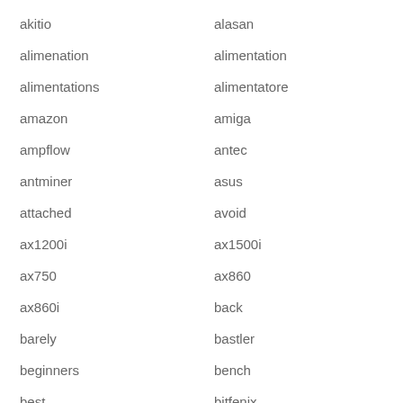akitio
alasan
alimenation
alimentation
alimentations
alimentatore
amazon
amiga
ampflow
antec
antminer
asus
attached
avoid
ax1200i
ax1500i
ax750
ax860
ax860i
back
barely
bastler
beginners
bench
best
bitfenix
bitmain
black